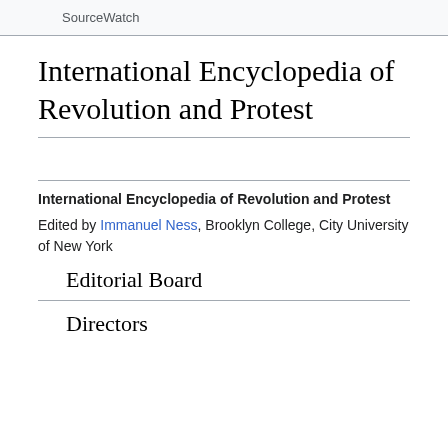SourceWatch
International Encyclopedia of Revolution and Protest
International Encyclopedia of Revolution and Protest
Edited by Immanuel Ness, Brooklyn College, City University of New York
Editorial Board
Directors